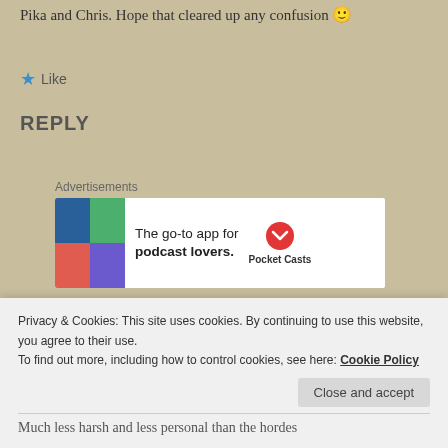Pika and Chris. Hope that cleared up any confusion 🙂
Like
REPLY
Advertisements
[Figure (screenshot): Advertisement banner for Pocket Casts: 'The go-to app for podcast lovers.']
CHRIS H
Privacy & Cookies: This site uses cookies. By continuing to use this website, you agree to their use.
To find out more, including how to control cookies, see here: Cookie Policy
Much less harsh and less personal than the hordes